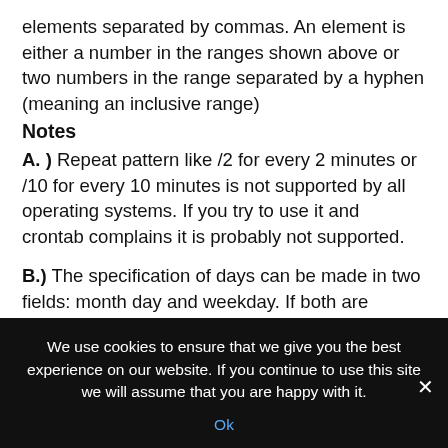elements separated by commas. An element is either a number in the ranges shown above or two numbers in the range separated by a hyphen (meaning an inclusive range)
Notes
A. ) Repeat pattern like /2 for every 2 minutes or /10 for every 10 minutes is not supported by all operating systems. If you try to use it and crontab complains it is probably not supported.
B.) The specification of days can be made in two fields: month day and weekday. If both are specified in an entry, they are cumulative
We use cookies to ensure that we give you the best experience on our website. If you continue to use this site we will assume that you are happy with it.
Ok